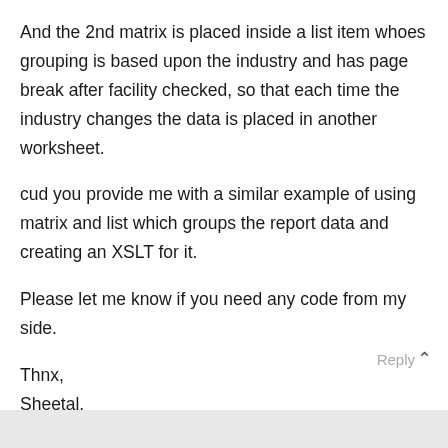And the 2nd matrix is placed inside a list item whoes grouping is based upon the industry and has page break after facility checked, so that each time the industry changes the data is placed in another worksheet.
cud you provide me with a similar example of using matrix and list which groups the report data and creating an XSLT for it.
Please let me know if you need any code from my side.
Thnx,
Sheetal.
Reply ∧